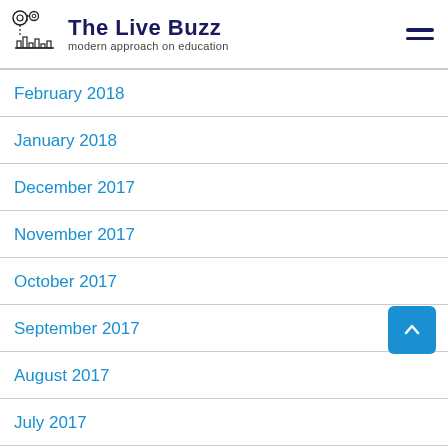The Live Buzz — modern approach on education
February 2018
January 2018
December 2017
November 2017
October 2017
September 2017
August 2017
July 2017